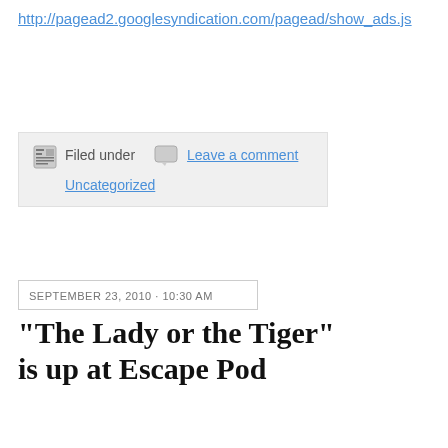http://pagead2.googlesyndication.com/pagead/show_ads.js
Filed under  Leave a comment  Uncategorized
SEPTEMBER 23, 2010 · 10:30 AM
"The Lady or the Tiger" is up at Escape Pod
I haven't listened to it, yet, because I am at work.
I have full confidence they did an excellent job. I am very pleased to be part of this fine podcast!